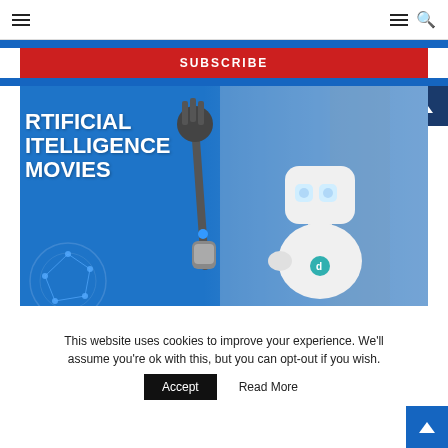Navigation bar with hamburger menu and search icon
SUBSCRIBE
[Figure (illustration): A promotional banner for Artificial Intelligence Movies featuring a white humanoid robot with glowing eyes and a robotic arm with blue microphone, set against a blue background with circuit patterns]
This website uses cookies to improve your experience. We'll assume you're ok with this, but you can opt-out if you wish.
Accept    Read More